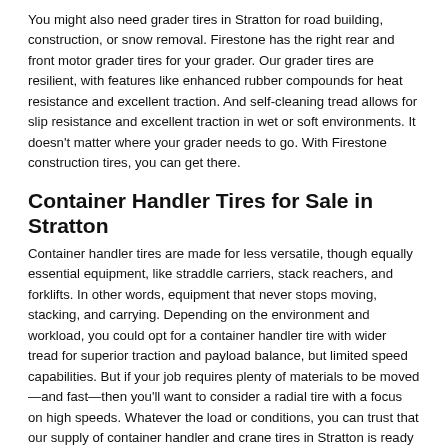You might also need grader tires in Stratton for road building, construction, or snow removal. Firestone has the right rear and front motor grader tires for your grader. Our grader tires are resilient, with features like enhanced rubber compounds for heat resistance and excellent traction. And self-cleaning tread allows for slip resistance and excellent traction in wet or soft environments. It doesn't matter where your grader needs to go. With Firestone construction tires, you can get there.
Container Handler Tires for Sale in Stratton
Container handler tires are made for less versatile, though equally essential equipment, like straddle carriers, stack reachers, and forklifts. In other words, equipment that never stops moving, stacking, and carrying. Depending on the environment and workload, you could opt for a container handler tire with wider tread for superior traction and payload balance, but limited speed capabilities. But if your job requires plenty of materials to be moved—and fast—then you'll want to consider a radial tire with a focus on high speeds. Whatever the load or conditions, you can trust that our supply of container handler and crane tires in Stratton is ready to deliver. All tires are tested before they can